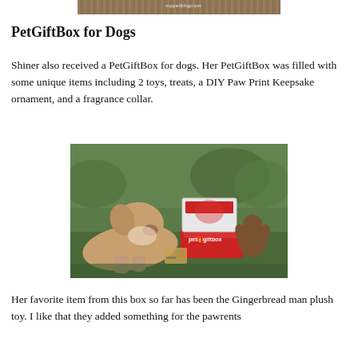[Figure (photo): Partial top image of a decorative mat or rug surface with a website watermark, cropped at top of page]
PetGiftBox for Dogs
Shiner also received a PetGiftBox for dogs. Her PetGiftBox was filled with some unique items including 2 toys, treats, a DIY Paw Print Keepsake ornament, and a fragrance collar.
[Figure (photo): A light brown and white dog lying on grass, sniffing at items from a PetGiftBox including a red branded box, packaging, and stuffed animal toys including a gingerbread man plush]
Her favorite item from this box so far has been the Gingerbread man plush toy. I like that they added something for the pawrents